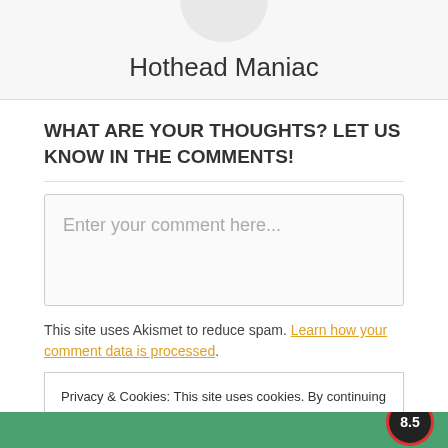Hothead Maniac
WHAT ARE YOUR THOUGHTS? LET US KNOW IN THE COMMENTS!
Enter your comment here...
This site uses Akismet to reduce spam. Learn how your comment data is processed.
Privacy & Cookies: This site uses cookies. By continuing to use this website, you agree to their use.
To find out more, including how to control cookies, see here: Cookie Policy
Close and accept